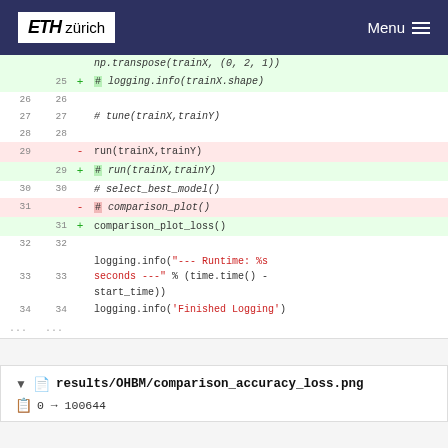ETH zürich | Menu
[Figure (screenshot): Git diff showing code changes: lines 25-34 with additions/deletions including logging, run(trainX,trainY), comparison_plot_loss(), and logging.info calls]
results/OHBM/comparison_accuracy_loss.png
0 → 100644